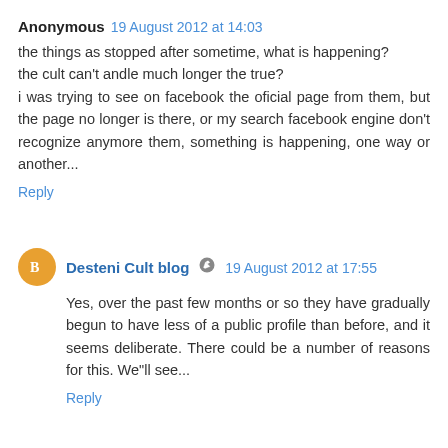Anonymous 19 August 2012 at 14:03
the things as stopped after sometime, what is happening? the cult can't andle much longer the true?
i was trying to see on facebook the oficial page from them, but the page no longer is there, or my search facebook engine don't recognize anymore them, something is happening, one way or another...
Reply
Desteni Cult blog 19 August 2012 at 17:55
Yes, over the past few months or so they have gradually begun to have less of a public profile than before, and it seems deliberate. There could be a number of reasons for this. We"ll see...
Reply
Anonymous 22 August 2012 at 19:53